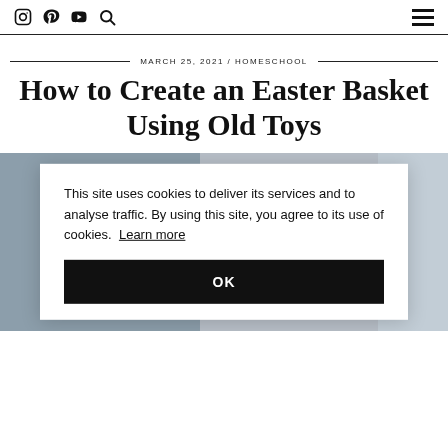Instagram Pinterest YouTube Search | Menu
MARCH 25, 2021 / HOMESCHOOL
How to Create an Easter Basket Using Old Toys
[Figure (photo): Photo showing children playing, partially obscured by cookie consent banner]
This site uses cookies to deliver its services and to analyse traffic. By using this site, you agree to its use of cookies. Learn more
OK